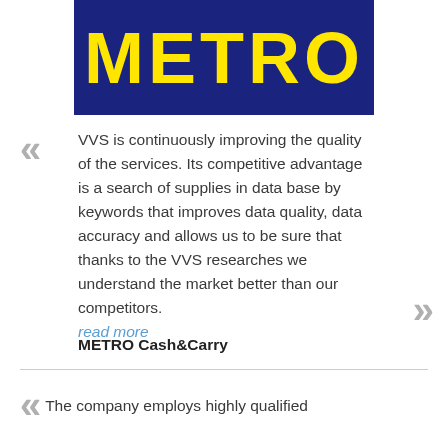[Figure (logo): METRO logo — yellow text 'METRO' on dark navy blue background]
VVS is continuously improving the quality of the services. Its competitive advantage is a search of supplies in data base by keywords that improves data quality, data accuracy and allows us to be sure that thanks to the VVS researches we understand the market better than our competitors. read more
METRO Cash&Carry
The company employs highly qualified